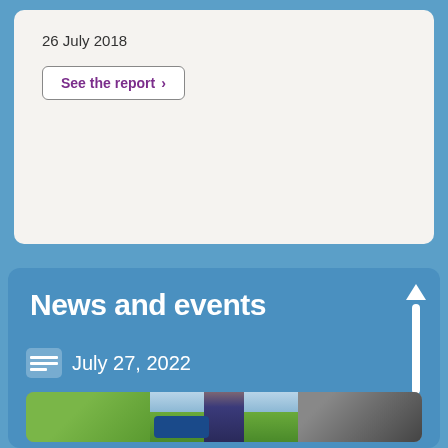26 July 2018
See the report >
News and events
July 27, 2022
[Figure (photo): Outdoor event photo strip showing multiple scenes including greenery, sky, and people near a vehicle]